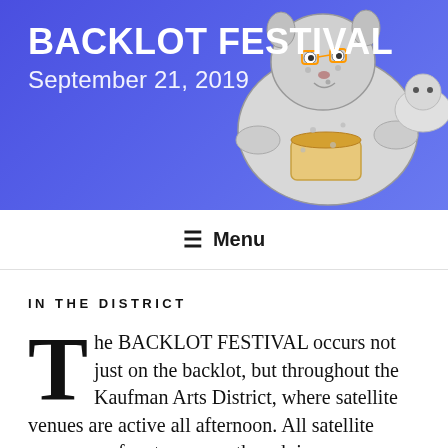BACKLOT FESTIVAL
September 21, 2019
[Figure (illustration): Cartoon illustration of animals (possibly dogs/raccoons) reading or holding something, overlaid on the blue gradient header background]
IN THE DISTRICT
The BACKLOT FESTIVAL occurs not just on the backlot, but throughout the Kaufman Arts District, where satellite venues are active all afternoon. All satellite venues are free to access, though in some cases seating is limited, with button-bearing